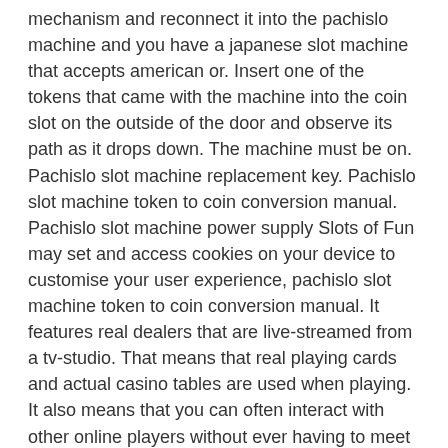mechanism and reconnect it into the pachislo machine and you have a japanese slot machine that accepts american or. Insert one of the tokens that came with the machine into the coin slot on the outside of the door and observe its path as it drops down. The machine must be on. Pachislo slot machine replacement key. Pachislo slot machine token to coin conversion manual. Pachislo slot machine power supply Slots of Fun may set and access cookies on your device to customise your user experience, pachislo slot machine token to coin conversion manual. It features real dealers that are live-streamed from a tv-studio. That means that real playing cards and actual casino tables are used when playing. It also means that you can often interact with other online players without ever having to meet them in person. Today, there are hundreds of live casino